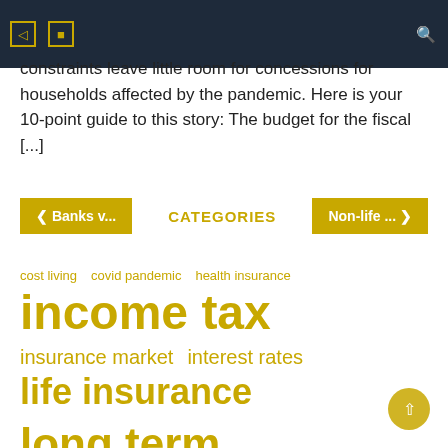Navigation bar with icons and search
constraints leave little room for concessions for households affected by the pandemic. Here is your 10-point guide to this story: The budget for the fiscal [...]
CATEGORIES
cost living  covid pandemic  health insurance  income tax  insurance market  interest rates  life insurance  long term  market report  market research  real estate  savings account  short term  supply chain  united states